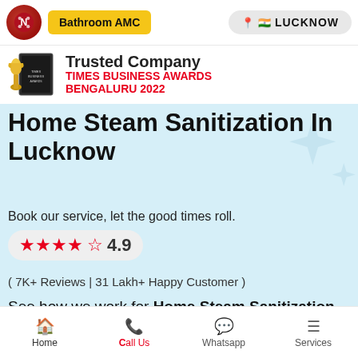Bathroom AMC | LUCKNOW
[Figure (screenshot): Award trophy and plaque image with Times Business Awards Bengaluru 2022 text]
Home Steam Sanitization In Lucknow
Book our service, let the good times roll.
★★★★½ 4.9
( 7K+ Reviews | 31 Lakh+ Happy Customer )
See how we work for Home Steam Sanitization
[Figure (screenshot): Video thumbnail with Mayur Films Productions logo and title 'steam and sanitization']
Home | Call Us | Whatsapp | Services